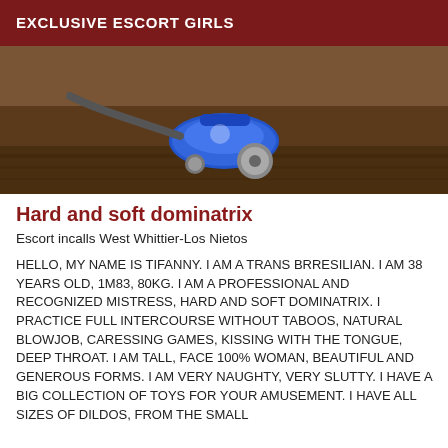EXCLUSIVE ESCORT GIRLS
[Figure (photo): Photo showing a blue vacuum cleaner on a wooden floor]
Hard and soft dominatrix
Escort incalls West Whittier-Los Nietos
HELLO, MY NAME IS TIFANNY. I AM A TRANS BRRESILIAN. I AM 38 YEARS OLD, 1M83, 80KG. I AM A PROFESSIONAL AND RECOGNIZED MISTRESS, HARD AND SOFT DOMINATRIX. I PRACTICE FULL INTERCOURSE WITHOUT TABOOS, NATURAL BLOWJOB, CARESSING GAMES, KISSING WITH THE TONGUE, DEEP THROAT. I AM TALL, FACE 100% WOMAN, BEAUTIFUL AND GENEROUS FORMS. I AM VERY NAUGHTY, VERY SLUTTY. I HAVE A BIG COLLECTION OF TOYS FOR YOUR AMUSEMENT. I HAVE ALL SIZES OF DILDOS, FROM THE SMALL